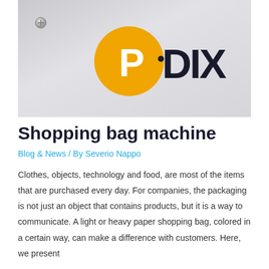[Figure (photo): Partial view of a company logo on a white/gray surface, showing an orange circle with a white letter P and bold dark letters 'DIX' beside it, with two small screws visible]
Shopping bag machine
Blog & News / By Severio Nappo
Clothes, objects, technology and food, are most of the items that are purchased every day. For companies, the packaging is not just an object that contains products, but it is a way to communicate. A light or heavy paper shopping bag, colored in a certain way, can make a difference with customers. Here, we present